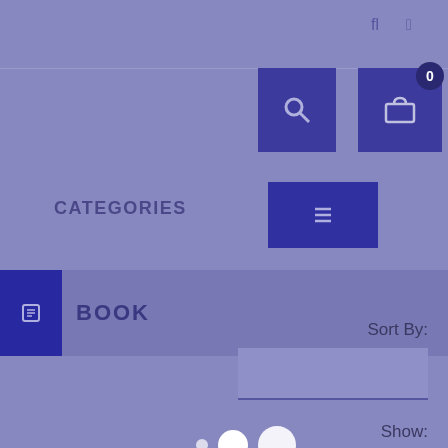[Figure (screenshot): E-commerce website UI showing navigation bar with search and cart icons, categories section with BOOK category selected, loading spinner dots, and Sort By / Show filter controls on a purple/blue background]
CATEGORIES
BOOK
Sort By:
Show:
15